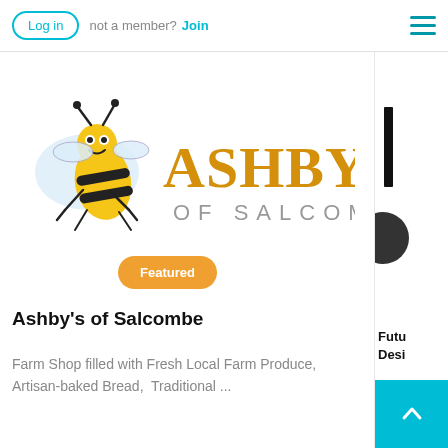Log in  not a member?  Join
[Figure (logo): Ashby's of Salcombe logo featuring a cartoon bee and golden text 'ASHBY'S OF SALCOMBE']
Featured
Ashby's of Salcombe
Farm Shop filled with Fresh Local Farm Produce, Artisan-baked Bread,  Traditional ...
Futu
Desi